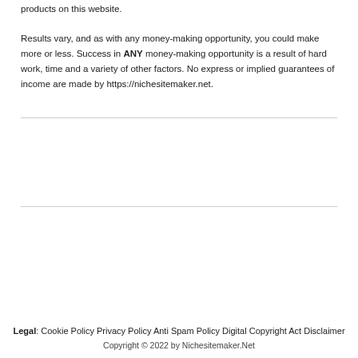products on this website.
Results vary, and as with any money-making opportunity, you could make more or less. Success in ANY money-making opportunity is a result of hard work, time and a variety of other factors. No express or implied guarantees of income are made by https://nichesitemaker.net.
Legal: Cookie Policy Privacy Policy Anti Spam Policy Digital Copyright Act Disclaimer
Copyright © 2022 by Nichesitemaker.Net